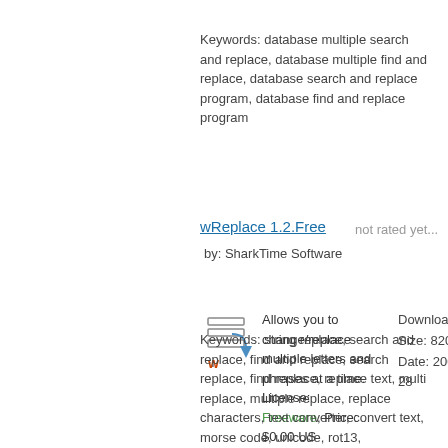Keywords: database multiple search and replace, database multiple find and replace, database search and replace program, database find and replace program
wReplace 1.2.Free
not rated yet...
by: SharkTime Software
[Figure (illustration): Software icon showing stacked horizontal lines with an arrow and a 'w' character]
Allows you to change/replace multiple letters and phrases at a time. License: Freeware, Price: $0.00 US [read more] [download]
Downloads: 38 Size: 820 K Date: 2008-06-28
Keywords: string replace, search and replace, find and replace, search replace, find replace, replace text, multi replace, multiple replace, replace characters, text converter, convert text, morse code, unicode, rot13, transcription, transliteration, romanization, phonetics